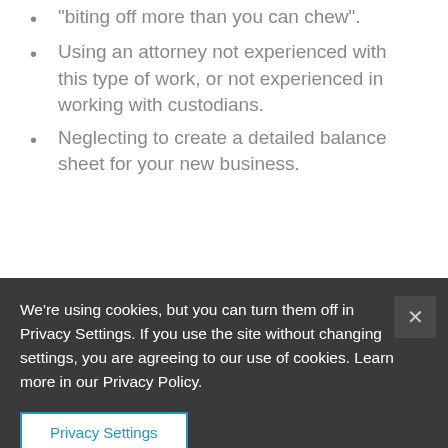biting off more than you can chew".
Using an attorney not experienced with this type of work, or not experienced in working with custodians.
Neglecting to create a detailed balance sheet for your new business.
We’re using cookies, but you can turn them off in Privacy Settings. If you use the site without changing settings, you are agreeing to our use of cookies. Learn more in our Privacy Policy.
Privacy Settings